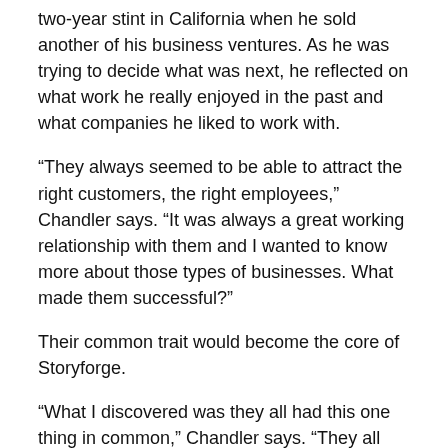two-year stint in California when he sold another of his business ventures. As he was trying to decide what was next, he reflected on what work he really enjoyed in the past and what companies he liked to work with.
“They always seemed to be able to attract the right customers, the right employees,” Chandler says. “It was always a great working relationship with them and I wanted to know more about those types of businesses. What made them successful?”
Their common trait would become the core of Storyforge.
“What I discovered was they all had this one thing in common,” Chandler says. “They all believed in something bigger than just the product or service that they were selling.”